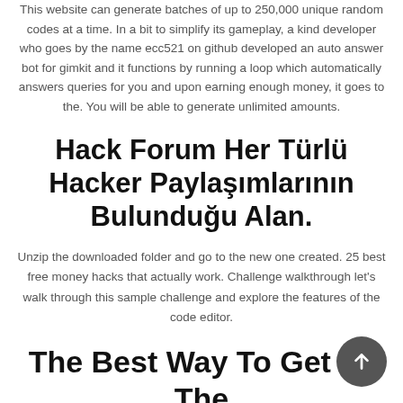This website can generate batches of up to 250,000 unique random codes at a time. In a bit to simplify its gameplay, a kind developer who goes by the name ecc521 on github developed an auto answer bot for gimkit and it functions by running a loop which automatically answers queries for you and upon earning enough money, it goes to the. You will be able to generate unlimited amounts.
Hack Forum Her Türlü Hacker Paylaşımlarının Bulunduğu Alan.
Unzip the downloaded folder and go to the new one created. 25 best free money hacks that actually work. Challenge walkthrough let's walk through this sample challenge and explore the features of the code editor.
The Best Way To Get To The